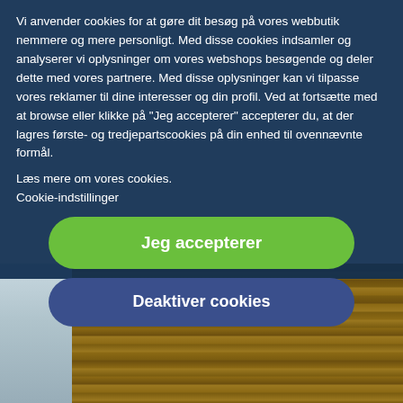Vi anvender cookies for at gøre dit besøg på vores webbutik nemmere og mere personligt. Med disse cookies indsamler og analyserer vi oplysninger om vores webshops besøgende og deler dette med vores partnere. Med disse oplysninger kan vi tilpasse vores reklamer til dine interesser og din profil. Ved at fortsætte med at browse eller klikke på "Jeg accepterer" accepterer du, at der lagres første- og tredjepartscookies på din enhed til ovennævnte formål.
› Læs mere om vores cookies.
› Cookie-indstillinger
Jeg accepterer
Deaktiver cookies
When you sit next to your colleagues, you inevitably breathe in the same air, but that's not a problem when the air is purified
[Figure (photo): Interior photo showing a wooden plank wall panel with horizontal wood boards in brown/tan tones, and a window area on the left with a white curtain/blind visible.]